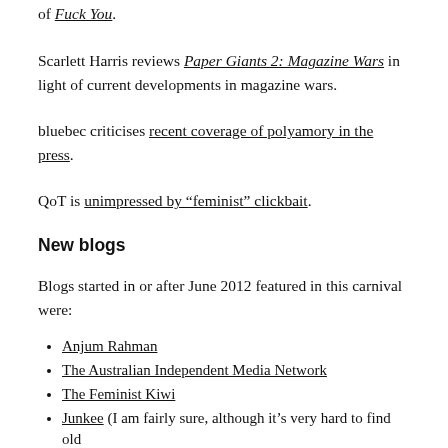of Fuck You.
Scarlett Harris reviews Paper Giants 2: Magazine Wars in light of current developments in magazine wars.
bluebec criticises recent coverage of polyamory in the press.
QoT is unimpressed by “feminist” clickbait.
New blogs
Blogs started in or after June 2012 featured in this carnival were:
Anjum Rahman
The Australian Independent Media Network
The Feminist Kiwi
Junkee (I am fairly sure, although it’s very hard to find old